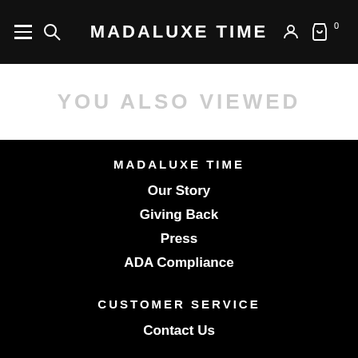MADALUXE TIME
YOU ALSO VIEWED
MADALUXE TIME
Our Story
Giving Back
Press
ADA Compliance
CUSTOMER SERVICE
Contact Us